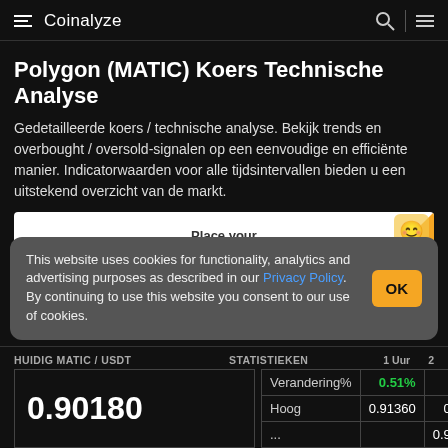Coinalyze
Polygon (MATIC) Koers Technische Analyse
Gedetailleerde koers / technische analyse. Bekijk trends en overbought / oversold-signalen op een eenvoudige en efficiënte manier. Indicatorwaarden voor alle tijdsintervallen bieden u een uitstekend overzicht van de markt.
[Figure (other): Coinzilla advertisement banner — Place your AD here]
This website uses cookies for functionality, analytics and advertising purposes as described in our Privacy Policy. By continuing to use this website you consent to our use of cookies.
| HUIDIG MATIC / USDT | STATISTIEKEN | 1 Uur | 2... |
| --- | --- | --- | --- |
| 0.90180 | Verandering% | 0.51% | ... |
|  | Hoog | 0.91360 | 0.9... |
|  | ... |  | 0.9... |